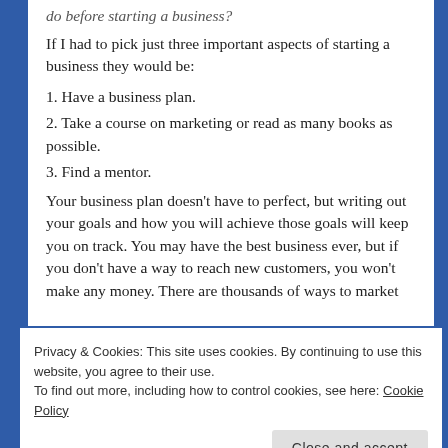do before starting a business?
If I had to pick just three important aspects of starting a business they would be:
1. Have a business plan.
2. Take a course on marketing or read as many books as possible.
3. Find a mentor.
Your business plan doesn’t have to perfect, but writing out your goals and how you will achieve those goals will keep you on track. You may have the best business ever, but if you don’t have a way to reach new customers, you won’t make any money. There are thousands of ways to market
Privacy & Cookies: This site uses cookies. By continuing to use this website, you agree to their use.
To find out more, including how to control cookies, see here: Cookie Policy
Close and accept
What can I say to explain how important it is to have a